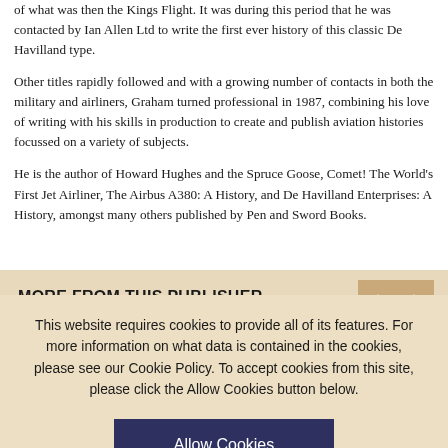of what was then the Kings Flight. It was during this period that he was contacted by Ian Allen Ltd to write the first ever history of this classic De Havilland type.
Other titles rapidly followed and with a growing number of contacts in both the military and airliners, Graham turned professional in 1987, combining his love of writing with his skills in production to create and publish aviation histories focussed on a variety of subjects.
He is the author of Howard Hughes and the Spruce Goose, Comet! The World's First Jet Airliner, The Airbus A380: A History, and De Havilland Enterprises: A History, amongst many others published by Pen and Sword Books.
MORE FROM THIS PUBLISHER
This website requires cookies to provide all of its features. For more information on what data is contained in the cookies, please see our Cookie Policy. To accept cookies from this site, please click the Allow Cookies button below.